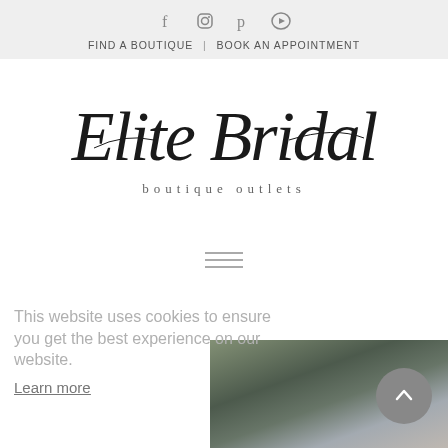FIND A BOUTIQUE | BOOK AN APPOINTMENT
[Figure (logo): Elite Bridal boutique outlets script logo]
[Figure (other): Hamburger menu icon with three horizontal lines]
This website uses cookies to ensure you get the best experience on our website.
Learn more
[Figure (photo): Outdoor photo showing trees, sky, and a building facade in dark tones]